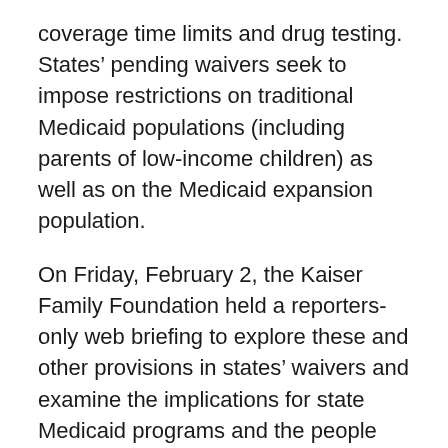coverage time limits and drug testing. States' pending waivers seek to impose restrictions on traditional Medicaid populations (including parents of low-income children) as well as on the Medicaid expansion population.
On Friday, February 2, the Kaiser Family Foundation held a reporters-only web briefing to explore these and other provisions in states' waivers and examine the implications for state Medicaid programs and the people they serve. The briefing included time for questions from journalists.
Panelists included Robin Rudowitz and MaryBeth Musumeci, both of whom are associate directors for KFF's Program on Medicaid and the Uninsured.